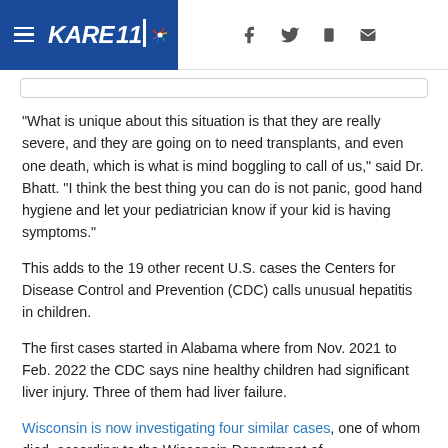KARE 11 — navigation header with hamburger menu, logo, and social/share icons (Facebook, Twitter, mobile, email)
"What is unique about this situation is that they are really severe, and they are going on to need transplants, and even one death, which is what is mind boggling to call of us," said Dr. Bhatt. "I think the best thing you can do is not panic, good hand hygiene and let your pediatrician know if your kid is having symptoms."
This adds to the 19 other recent U.S. cases the Centers for Disease Control and Prevention (CDC) calls unusual hepatitis in children.
The first cases started in Alabama where from Nov. 2021 to Feb. 2022 the CDC says nine healthy children had significant liver injury. Three of them had liver failure.
Wisconsin is now investigating four similar cases, one of whom died, according to the Wisconsin Department of Health Services.